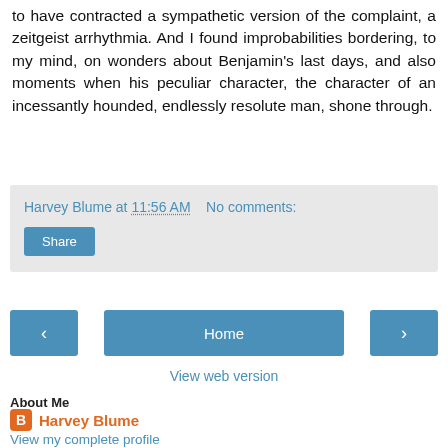to have contracted a sympathetic version of the complaint, a zeitgeist arrhythmia. And I found improbabilities bordering, to my mind, on wonders about Benjamin's last days, and also moments when his peculiar character, the character of an incessantly hounded, endlessly resolute man, shone through.
Harvey Blume at 11:56 AM    No comments:
Share
‹
Home
›
View web version
About Me
Harvey Blume
View my complete profile
Powered by Blogger.